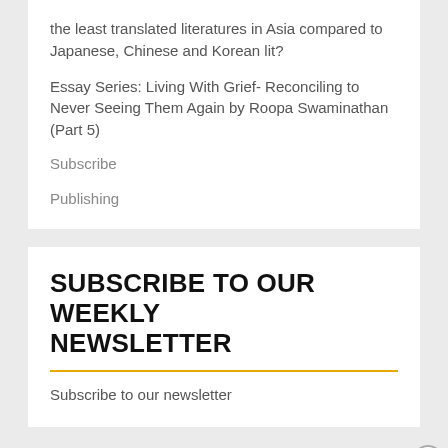the least translated literatures in Asia compared to Japanese, Chinese and Korean lit?
Essay Series: Living With Grief- Reconciling to Never Seeing Them Again by Roopa Swaminathan (Part 5)
Subscribe
Publishing
SUBSCRIBE TO OUR WEEKLY NEWSLETTER
Subscribe to our newsletter
Advertisements
[Figure (illustration): Macy's advertisement banner with red background showing 'KISS BORING LIPS GOODBYE' text with a woman's face/lips and a 'SHOP NOW' button with Macy's star logo]